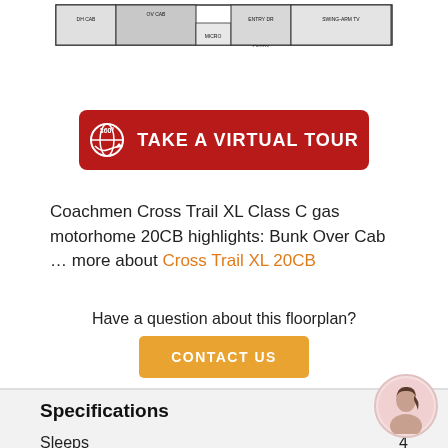[Figure (schematic): Floorplan diagram showing DH CAB, OV CAB, MICRO, ENTRY DR, SWING-ARM TV, ENTRY labels]
[Figure (other): Red button with 360 degree icon: TAKE A VIRTUAL TOUR]
Coachmen Cross Trail XL Class C gas motorhome 20CB highlights: Bunk Over Cab … more about Cross Trail XL 20CB
Have a question about this floorplan?
[Figure (other): Orange CONTACT US button]
Specifications
Sleeps 4